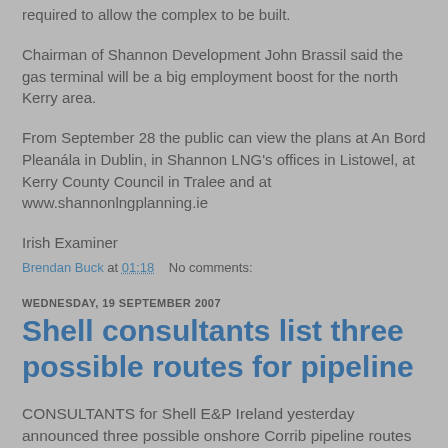required to allow the complex to be built.
Chairman of Shannon Development John Brassil said the gas terminal will be a big employment boost for the north Kerry area.
From September 28 the public can view the plans at An Bord Pleanála in Dublin, in Shannon LNG's offices in Listowel, at Kerry County Council in Tralee and at www.shannonlngplanning.ie
Irish Examiner
Brendan Buck at 01:18    No comments:
WEDNESDAY, 19 SEPTEMBER 2007
Shell consultants list three possible routes for pipeline
CONSULTANTS for Shell E&P Ireland yesterday announced three possible onshore Corrib pipeline routes as the